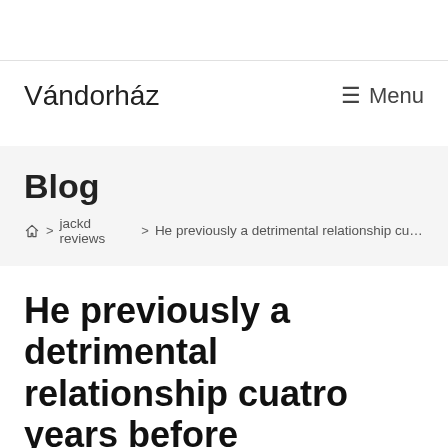Vándorház   ☰ Menu
Blog
🏠 > jackd reviews > He previously a detrimental relationship cuatro y
He previously a detrimental relationship cuatro years before matchmaking me, and work out your vulnerable and